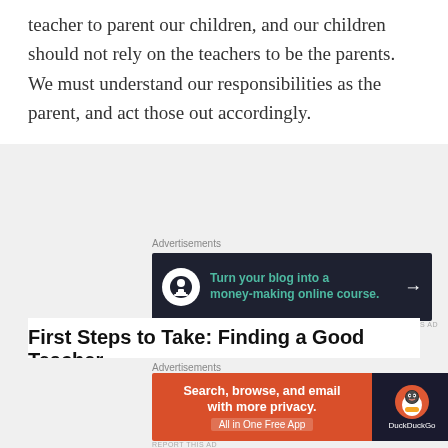teacher to parent our children, and our children should not rely on the teachers to be the parents. We must understand our responsibilities as the parent, and act those out accordingly.
[Figure (other): Advertisement banner: dark background with bonsai tree icon, text 'Turn your blog into a money-making online course.' with arrow]
First Steps to Take: Finding a Good Teacher
Get to know what they teach and how they...
[Figure (other): Advertisement banner: DuckDuckGo ad — orange section with 'Search, browse, and email with more privacy. All in One Free App' and dark section with DuckDuckGo duck logo]